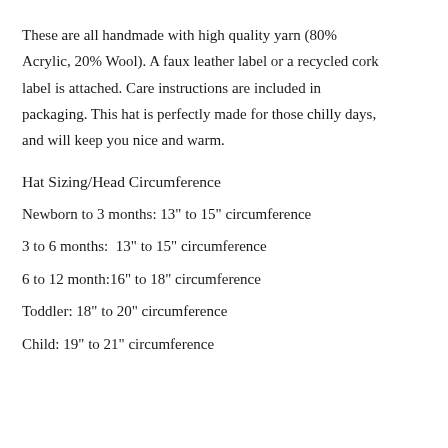These are all handmade with high quality yarn (80% Acrylic, 20% Wool). A faux leather label or a recycled cork label is attached. Care instructions are included in packaging. This hat is perfectly made for those chilly days, and will keep you nice and warm.
Hat Sizing/Head Circumference
Newborn to 3 months: 13" to 15" circumference
3 to 6 months:  13" to 15" circumference
6 to 12 month:16" to 18" circumference
Toddler: 18" to 20" circumference
Child: 19" to 21" circumference